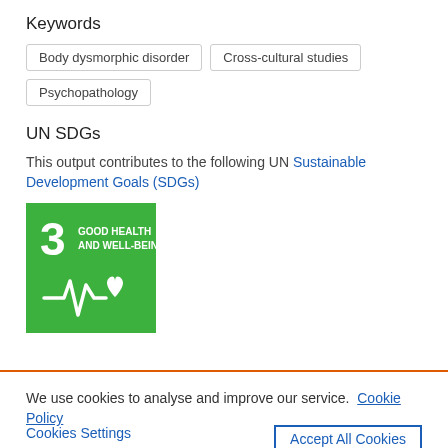Keywords
Body dysmorphic disorder
Cross-cultural studies
Psychopathology
UN SDGs
This output contributes to the following UN Sustainable Development Goals (SDGs)
[Figure (illustration): UN SDG 3 badge: Good Health and Well-Being. Green background with white ECG heartbeat line and heart icon. Large white number 3, text 'GOOD HEALTH AND WELL-BEING'.]
We use cookies to analyse and improve our service. Cookie Policy
Cookies Settings
Accept All Cookies